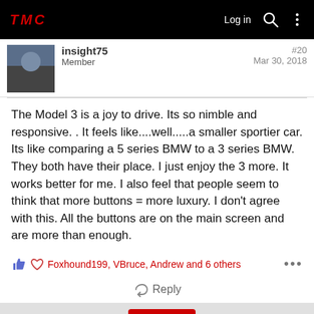TMC  Log in
insight75
Member
#20
Mar 30, 2018
The Model 3 is a joy to drive. Its so nimble and responsive. . It feels like....well.....a smaller sportier car. Its like comparing a 5 series BMW to a 3 series BMW. They both have their place. I just enjoy the 3 more. It works better for me. I also feel that people seem to think that more buttons = more luxury. I don't agree with this. All the buttons are on the main screen and are more than enough.
Foxhound199, VBruce, Andrew and 6 others
Reply
1 of 2  Next  Blog  Hot  New  Forum List  Menu